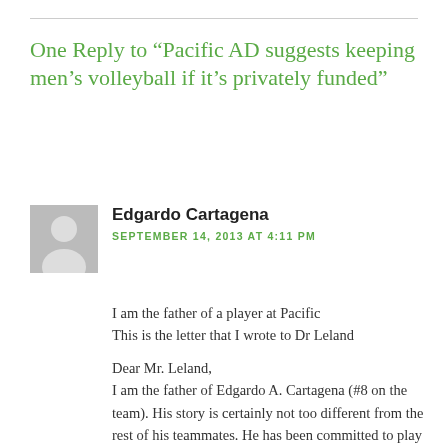One Reply to “Pacific AD suggests keeping men’s volleyball if it’s privately funded”
[Figure (illustration): Gray avatar icon of a person silhouette]
Edgardo Cartagena
SEPTEMBER 14, 2013 AT 4:11 PM
I am the father of a player at Pacific
This is the letter that I wrote to Dr Leland

Dear Mr. Leland,
I am the father of Edgardo A. Cartagena (#8 on the team). His story is certainly not too different from the rest of his teammates. He has been committed to play volleyball since he's 12 years and always set a series of goals including: to play for the Puerto Rican National Team, obtain his